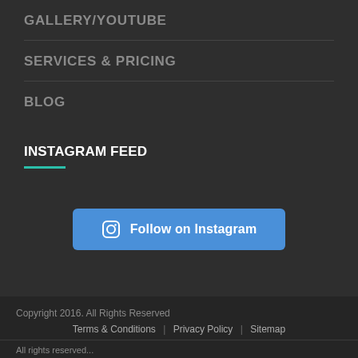GALLERY/YOUTUBE
SERVICES & PRICING
BLOG
INSTAGRAM FEED
[Figure (other): Follow on Instagram button with Instagram icon]
Copyright 2016. All Rights Reserved  Terms & Conditions | Privacy Policy | Sitemap  All rights reserved...